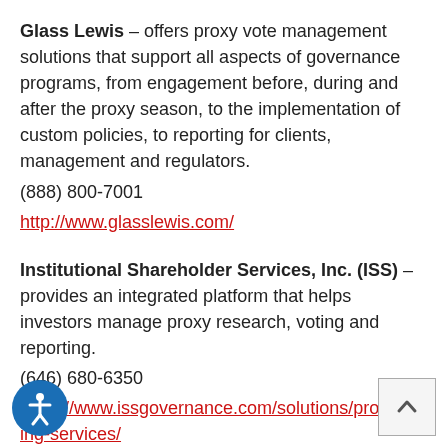Glass Lewis – offers proxy vote management solutions that support all aspects of governance programs, from engagement before, during and after the proxy season, to the implementation of custom policies, to reporting for clients, management and regulators.
(888) 800-7001
http://www.glasslewis.com/
Institutional Shareholder Services, Inc. (ISS) – provides an integrated platform that helps investors manage proxy research, voting and reporting.
(646) 680-6350
https://www.issgovernance.com/solutions/proxy-voting-services/
MSCI Inc. RiskMetrics Group, Inc. -- offers